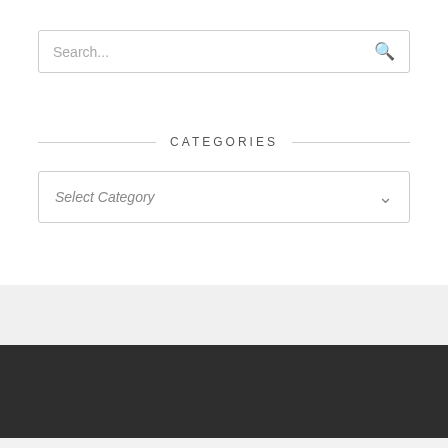Search...
CATEGORIES
Select Category
[Figure (screenshot): Dark footer area of a webpage]
[Figure (screenshot): CVS advertisement banner: CVS® High Quality Photo Gifts, CVS Photo]